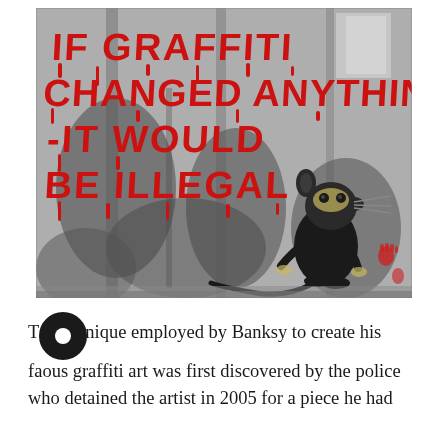[Figure (photo): Banksy street art on a weathered wall: red spray-painted graffiti text reading 'IF GRAFFITI CHANGED ANYTHING - IT WOULD BE ILLEGAL' with drips, and a stencilled black rat standing upright looking at the text. Small red handprints visible to the right of the rat.]
The unique employed by Banksy to create his famous graffiti art was first discovered by the police who detained the artist in 2005 for a piece he had